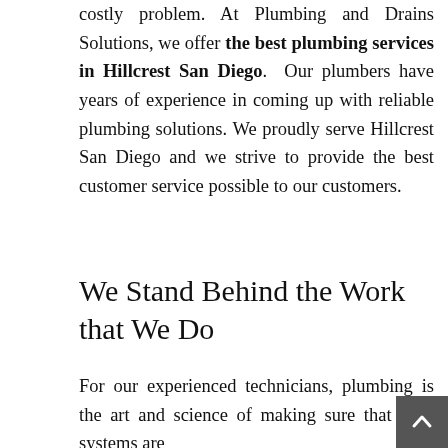costly problem. At Plumbing and Drains Solutions, we offer the best plumbing services in Hillcrest San Diego.  Our plumbers have years of experience in coming up with reliable plumbing solutions. We proudly serve Hillcrest San Diego and we strive to provide the best customer service possible to our customers.
We Stand Behind the Work that We Do
For our experienced technicians, plumbing is the art and science of making sure that your systems are